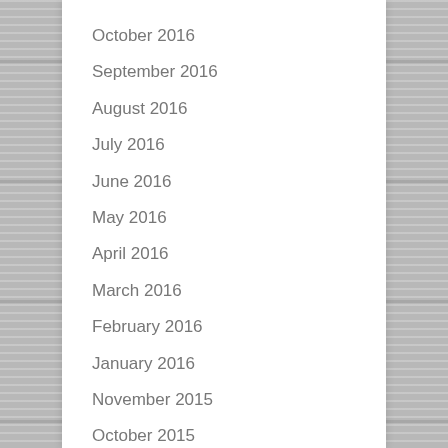October 2016
September 2016
August 2016
July 2016
June 2016
May 2016
April 2016
March 2016
February 2016
January 2016
November 2015
October 2015
September 2015
August 2015
July 2015